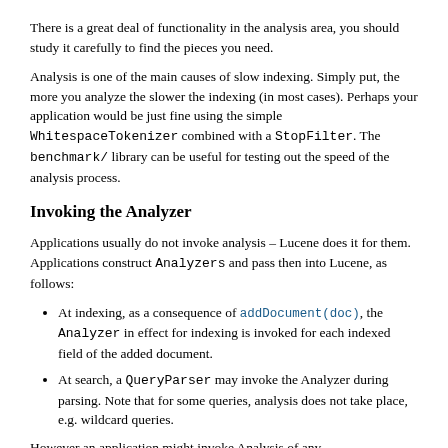There is a great deal of functionality in the analysis area, you should study it carefully to find the pieces you need.
Analysis is one of the main causes of slow indexing. Simply put, the more you analyze the slower the indexing (in most cases). Perhaps your application would be just fine using the simple WhitespaceTokenizer combined with a StopFilter. The benchmark/ library can be useful for testing out the speed of the analysis process.
Invoking the Analyzer
Applications usually do not invoke analysis – Lucene does it for them. Applications construct Analyzers and pass then into Lucene, as follows:
At indexing, as a consequence of addDocument(doc), the Analyzer in effect for indexing is invoked for each indexed field of the added document.
At search, a QueryParser may invoke the Analyzer during parsing. Note that for some queries, analysis does not take place, e.g. wildcard queries.
However an application might invoke Analysis of any